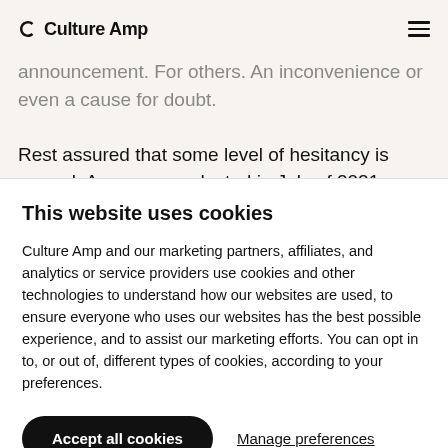Culture Amp
announcement. For others. An inconvenience or even a cause for doubt.
Rest assured that some level of hesitancy is normal. A survey conducted in July of 2021 found that almost
This website uses cookies
Culture Amp and our marketing partners, affiliates, and analytics or service providers use cookies and other technologies to understand how our websites are used, to ensure everyone who uses our websites has the best possible experience, and to assist our marketing efforts. You can opt in to, or out of, different types of cookies, according to your preferences.
Accept all cookies | Manage preferences